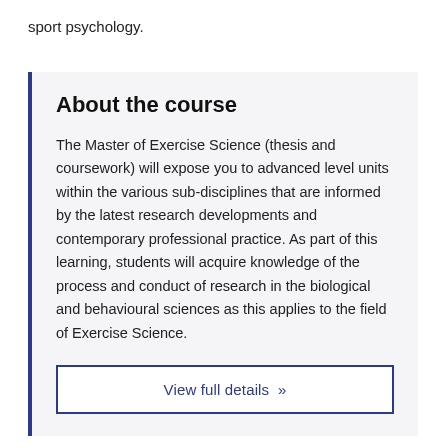sport psychology.
About the course
The Master of Exercise Science (thesis and coursework) will expose you to advanced level units within the various sub-disciplines that are informed by the latest research developments and contemporary professional practice. As part of this learning, students will acquire knowledge of the process and conduct of research in the biological and behavioural sciences as this applies to the field of Exercise Science.
View full details »